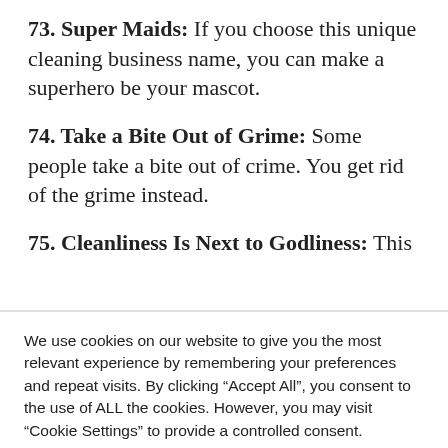73. Super Maids: If you choose this unique cleaning business name, you can make a superhero be your mascot.
74. Take a Bite Out of Grime: Some people take a bite out of crime. You get rid of the grime instead.
75. Cleanliness Is Next to Godliness: This
We use cookies on our website to give you the most relevant experience by remembering your preferences and repeat visits. By clicking “Accept All”, you consent to the use of ALL the cookies. However, you may visit “Cookie Settings” to provide a controlled consent.